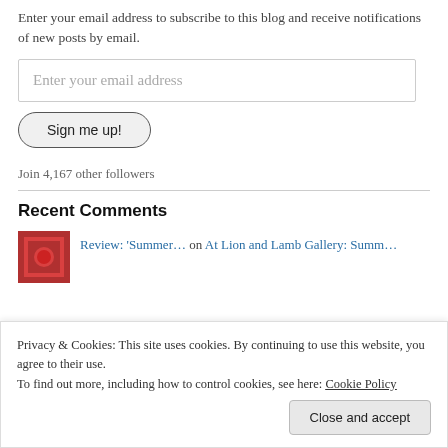Enter your email address to subscribe to this blog and receive notifications of new posts by email.
[Figure (screenshot): Email address input field with placeholder text 'Enter your email address']
[Figure (screenshot): Button labeled 'Sign me up!']
Join 4,167 other followers
Recent Comments
Review: 'Summer… on At Lion and Lamb Gallery: Summ…
Privacy & Cookies: This site uses cookies. By continuing to use this website, you agree to their use.
To find out more, including how to control cookies, see here: Cookie Policy
jennifer talbot on Make Colour Sing, Nottingham P…